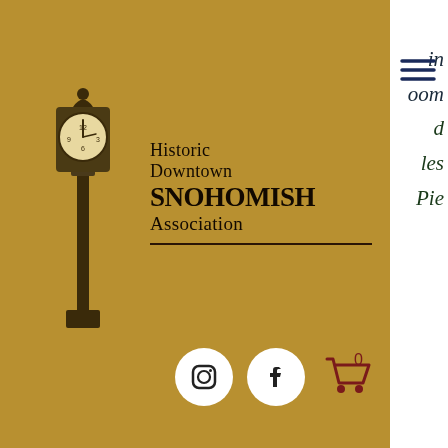[Figure (logo): Historic Downtown Snohomish Association logo with clock tower and text on golden background with social icons and search bar]
in
oom
d
les
Pie
Dinner
Appetizer (Select one):
Cabbage Patch Soup or Salad
All entrées are served with
Assorted rolls
Entrée (Select one):
Marsala Chicken
6oz. Chicken Breast sauteed with
mushrooms and onion in a sweet